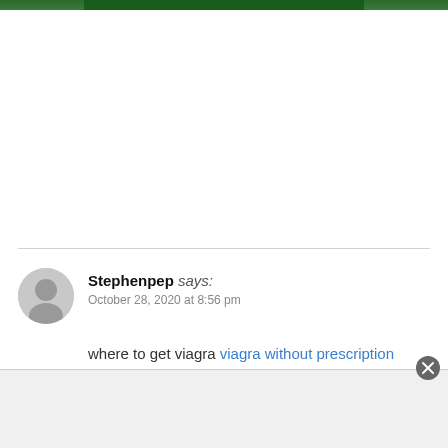[Figure (photo): Partial top strip of a photo showing green outdoor scene]
Stephenpep says:
October 28, 2020 at 8:56 pm

where to get viagra viagra without prescription viagra prescription